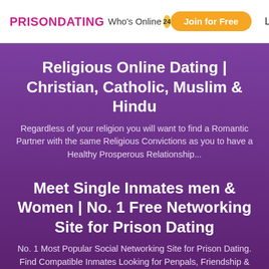PRISON DATING | Who's Online 24 | Join for Free | Login
Religious Online Dating | Christian, Catholic, Muslim & Hindu
Regardless of your religion you will want to find a Romantic Partner with the same Religious Convictions as you to have a Healthy Prosperous Relationship...
Meet Single Inmates men & Women | No. 1 Free Networking Site for Prison Dating
No. 1 Most Popular Social Networking Site for Prison Dating. Find Compatible Inmates Looking for Penpals, Friendship & more. 100% Free Social Networking Site for Prison Singles.